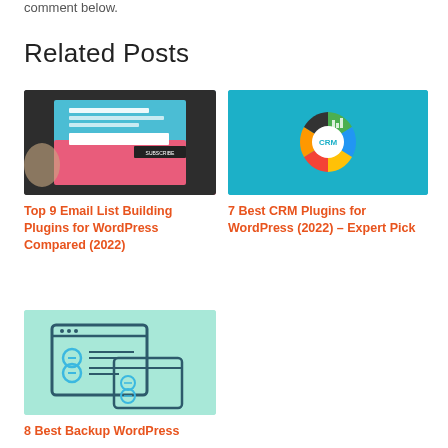comment below.
Related Posts
[Figure (photo): Popup email opt-in form on a pink and blue background with hands holding a card]
Top 9 Email List Building Plugins for WordPress Compared (2022)
[Figure (illustration): CRM logo with colorful pie chart icon on teal background]
7 Best CRM Plugins for WordPress (2022) – Expert Pick
[Figure (illustration): Browser window and mobile screen icons on mint green background representing backup plugins]
8 Best Backup WordPress